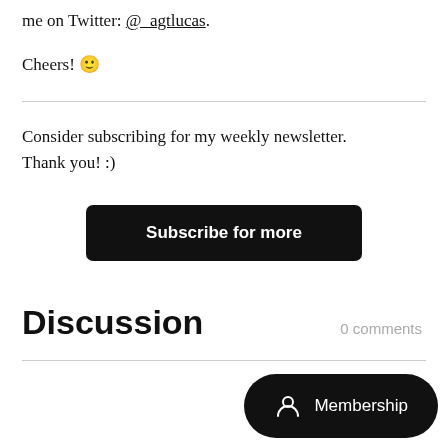me on Twitter: @_agtlucas.
Cheers! 🙂
Consider subscribing for my weekly newsletter. Thank you! :)
Subscribe for more
Discussion
0 comments
Membership